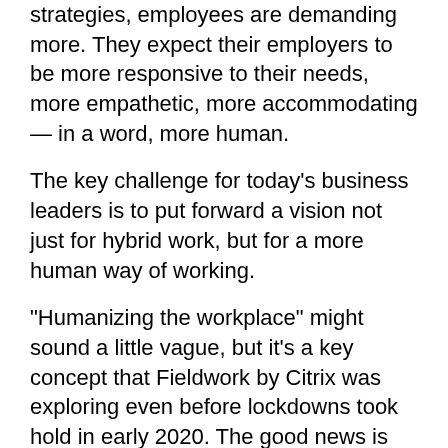strategies, employees are demanding more. They expect their employers to be more responsive to their needs, more empathetic, more accommodating — in a word, more human.
The key challenge for today's business leaders is to put forward a vision not just for hybrid work, but for a more human way of working.
“Humanizing the workplace” might sound a little vague, but it’s a key concept that Fieldwork by Citrix was exploring even before lockdowns took hold in early 2020. The good news is that strategies for creating deeply empathic hybrid workplaces are emerging, with tactics and actions that can help you meet employees’ evolving expectations.
Go to form
2021 Digital Worker Experience Survey. After